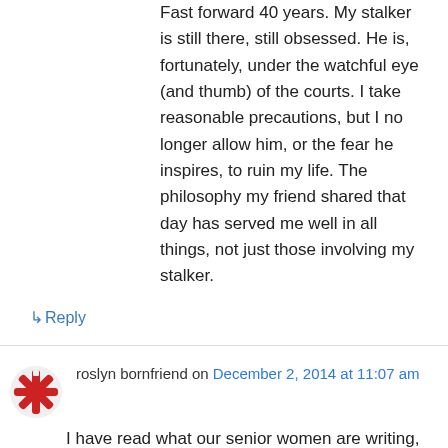Fast forward 40 years. My stalker is still there, still obsessed. He is, fortunately, under the watchful eye (and thumb) of the courts. I take reasonable precautions, but I no longer allow him, or the fear he inspires, to ruin my life. The philosophy my friend shared that day has served me well in all things, not just those involving my stalker.
↳ Reply
roslyn bornfriend on December 2, 2014 at 11:07 am
I have read what our senior women are writing, and I am impressed with how smart they ALL are! The young need to heed their elders FOR THEIR OWN SAKES!